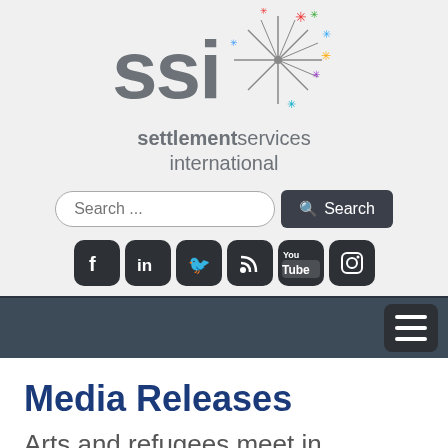[Figure (logo): SSI Settlement Services International logo with colorful starburst/fireworks graphic next to large grey SSI letters, and 'settlementservices international' text below]
[Figure (screenshot): Search input field with placeholder 'Search ...' and a dark 'Search' button with magnifying glass icon]
[Figure (infographic): Row of six dark rounded social media icons: Facebook, LinkedIn, Twitter, RSS feed, YouTube, Instagram]
[Figure (screenshot): Dark navigation bar with hamburger menu icon on the right]
Media Releases
Arts and refugees meet in inaugural forum